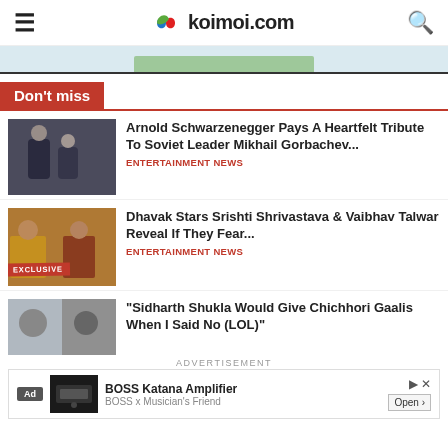koimoi.com
[Figure (screenshot): Light blue advertisement banner with green top element and horizontal divider line]
Don't miss
[Figure (photo): Two men in suits, one tall dark-haired and one shorter older man, posing together]
Arnold Schwarzenegger Pays A Heartfelt Tribute To Soviet Leader Mikhail Gorbachev...
ENTERTAINMENT NEWS
[Figure (photo): Woman in yellow attire on left, man on right, EXCLUSIVE badge overlay]
Dhavak Stars Srishti Shrivastava & Vaibhav Talwar Reveal If They Fear...
ENTERTAINMENT NEWS
[Figure (photo): Two people partially visible, article thumbnail]
“Sidharth Shukla Would Give Chichhori Gaalis When I Said No (LOL)”
ADVERTISEMENT
[Figure (screenshot): Ad banner: BOSS Katana Amplifier, Boss x Musician's Friend, Open button]